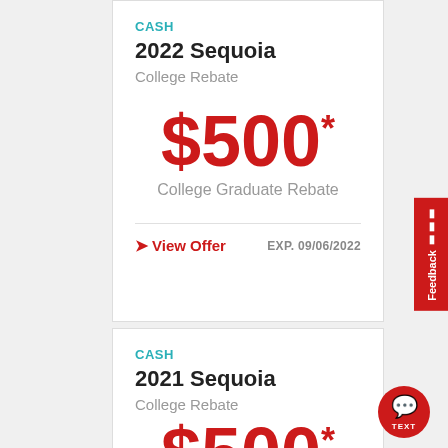CASH
2022 Sequoia
College Rebate
$500* College Graduate Rebate
View Offer
EXP. 09/06/2022
CASH
2021 Sequoia
College Rebate
$500*